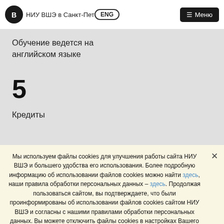ENG | НИУ ВШЭ в Санкт-Петербурге | Меню
Обучение ведется на английском языке
5
Кредиты
Мы используем файлы cookies для улучшения работы сайта НИУ ВШЭ и большего удобства его использования. Более подробную информацию об использовании файлов cookies можно найти здесь, наши правила обработки персональных данных – здесь. Продолжая пользоваться сайтом, вы подтверждаете, что были проинформированы об использовании файлов cookies сайтом НИУ ВШЭ и согласны с нашими правилами обработки персональных данных. Вы можете отключить файлы cookies в настройках Вашего браузера.